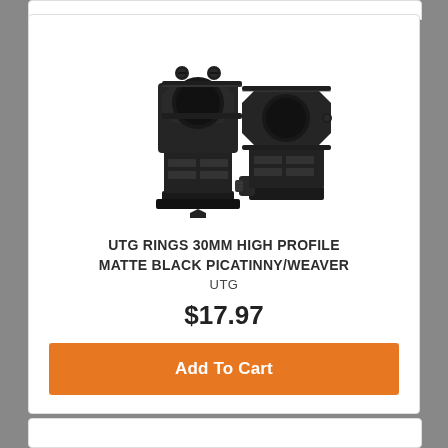[Figure (photo): Two UTG 30mm high profile matte black Picatinny/Weaver scope rings shown side by side on white background]
UTG RINGS 30MM HIGH PROFILE MATTE BLACK PICATINNY/WEAVER
UTG
$17.97
Add To Cart